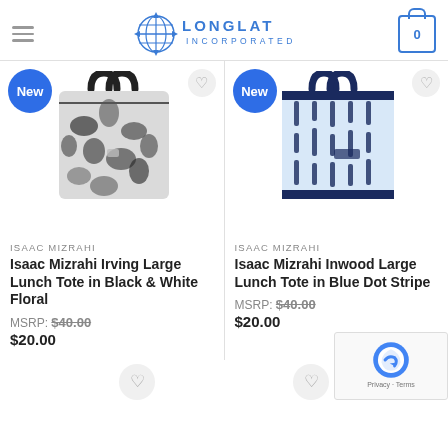LONGLAT INCORPORATED
[Figure (photo): Isaac Mizrahi Irving Large Lunch Tote in Black & White Floral pattern with black handles]
New
ISAAC MIZRAHI
Isaac Mizrahi Irving Large Lunch Tote in Black & White Floral
MSRP: $40.00
$20.00
[Figure (photo): Isaac Mizrahi Inwood Large Lunch Tote in Blue Dot Stripe pattern with dark navy handles]
New
ISAAC MIZRAHI
Isaac Mizrahi Inwood Large Lunch Tote in Blue Dot Stripe
MSRP: $40.00
$20.00